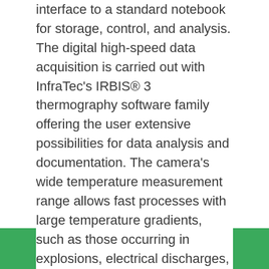interface to a standard notebook for storage, control, and analysis. The digital high-speed data acquisition is carried out with InfraTec's IRBIS® 3 thermography software family offering the user extensive possibilities for data analysis and documentation. The camera's wide temperature measurement range allows fast processes with large temperature gradients, such as those occurring in explosions, electrical discharges, or laser machining processes, to be easily recorded. The new ImageIR 8300 hs middle wavelength infrared camera can be equipped with a fast-rotating filter wheel to adapt the camera